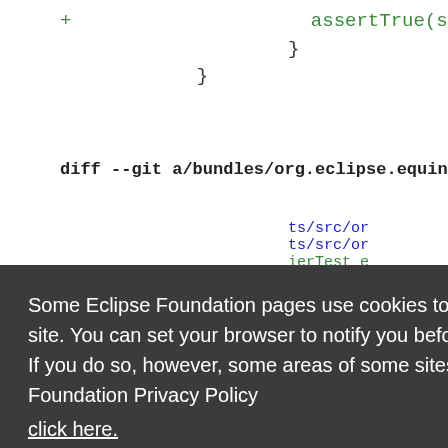[Figure (screenshot): Eclipse Foundation code review page showing a git diff with code in green, blue, red colors, partially obscured by a cookie consent overlay. The overlay contains text about cookies and two buttons: Decline and Allow cookies.]
Some Eclipse Foundation pages use cookies to better serve you when you return to the site. You can set your browser to notify you before you receive a cookie or turn off cookies. If you do so, however, some areas of some sites may not function properly. To read Eclipse Foundation Privacy Policy click here.
Decline
Allow cookies